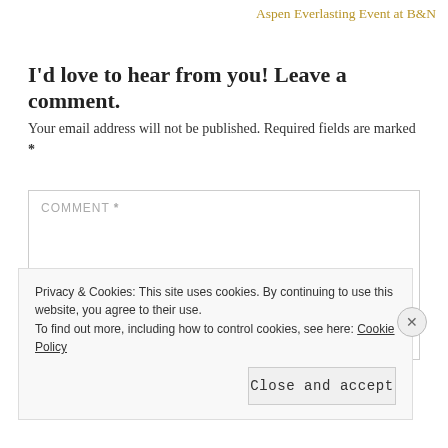Aspen Everlasting Event at B&N
I'd love to hear from you! Leave a comment.
Your email address will not be published. Required fields are marked *
COMMENT *
Privacy & Cookies: This site uses cookies. By continuing to use this website, you agree to their use. To find out more, including how to control cookies, see here: Cookie Policy
Close and accept